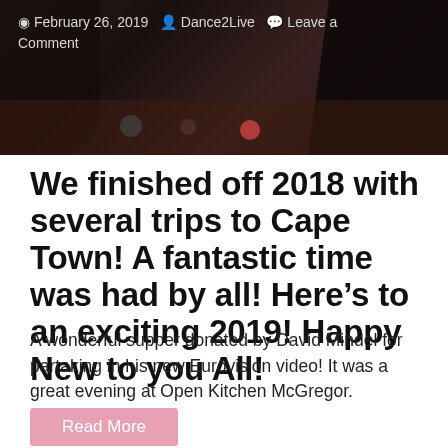[Figure (photo): Dark photo of people at a dinner/supper gathering, dimly lit restaurant/kitchen setting]
February 26, 2019  Dance2Live  Leave a Comment
We finished off 2018 with several trips to Cape Town! A fantastic time was had by all! Here’s to an exciting 2019! Happy New to you All!
A wonderful supper donated by David Mindel for partaking in his new Eurovision video! It was a great evening at Open Kitchen McGregor.
Read More